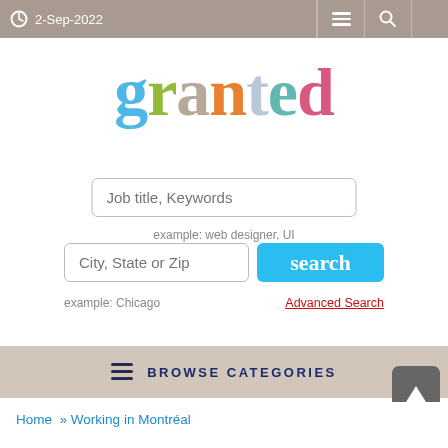2-Sep-2022
[Figure (logo): Granted job search website logo with multicolored letters: g(blue), r(green), a(tan), n(orange), t(light blue), e(teal), d(pink)]
Job title, Keywords
example: web designer, UI
City, State or Zip
search
example: Chicago
Advanced Search
BROWSE CATEGORIES
Home  » Working in Montréal